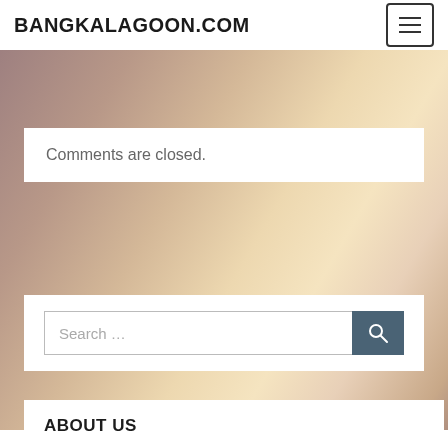BANGKALAGOON.COM
Comments are closed.
Search ...
ABOUT US
Contact us
Advertise Here